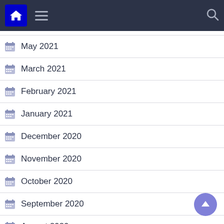Navigation bar with home, menu, and search icons
May 2021
March 2021
February 2021
January 2021
December 2020
November 2020
October 2020
September 2020
August 2020